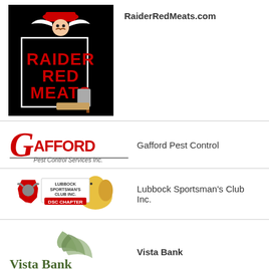[Figure (logo): Raider Red Meats logo on black background with cartoon cowboy mascot holding a cleaver]
RaiderRedMeats.com
[Figure (logo): Gafford Pest Control Services Inc. logo in red and gray]
Gafford Pest Control
[Figure (logo): Lubbock Sportsman's Club Inc. DSC Chapter logo with Texas and elephant]
Lubbock Sportsman's Club Inc.
[Figure (logo): Vista Bank logo - People First Since 1912]
Vista Bank